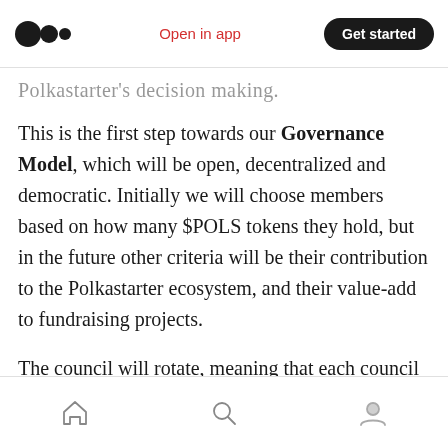Medium logo | Open in app | Get started
Polkastarter's decision making.
This is the first step towards our Governance Model, which will be open, decentralized and democratic. Initially we will choose members based on how many $POLS tokens they hold, but in the future other criteria will be their contribution to the Polkastarter ecosystem, and their value-add to fundraising projects.
The council will rotate, meaning that each council will be able to vote for a specific number of projects. We will be testing this system in the
Home | Search | Profile